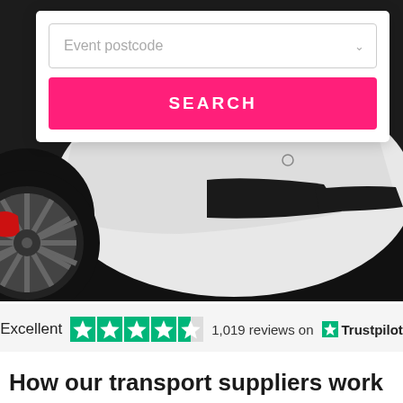[Figure (photo): Close-up photo of a white sports car front bumper and alloy wheel with red brake caliper, dark background]
Event postcode
SEARCH
Excellent  1,019 reviews on  Trustpilot
How our transport suppliers work